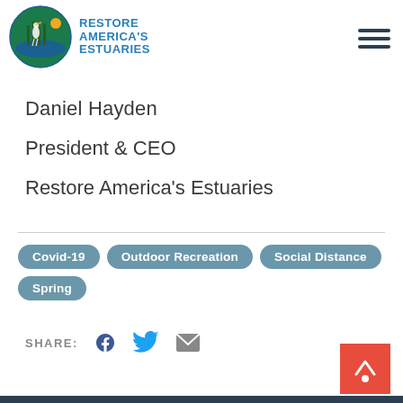[Figure (logo): Restore America's Estuaries circular logo with heron and sun, with blue text 'RESTORE AMERICA'S ESTUARIES' to the right]
Daniel Hayden
President & CEO
Restore America's Estuaries
Covid-19
Outdoor Recreation
Social Distance
Spring
SHARE: